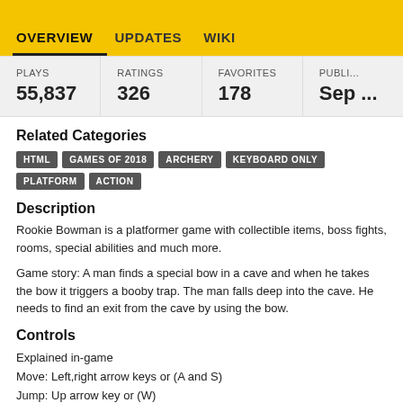OVERVIEW   UPDATES   WIKI
| PLAYS | RATINGS | FAVORITES | PUBLI... |
| --- | --- | --- | --- |
| 55,837 | 326 | 178 | Sep ... |
Related Categories
HTML   GAMES OF 2018   ARCHERY   KEYBOARD ONLY   PLATFORM   ACTION
Description
Rookie Bowman is a platformer game with collectible items, boss fights, rooms, special abilities and much more.
Game story: A man finds a special bow in a cave and when he takes the bow it triggers a booby trap. The man falls deep into the cave. He needs to find an exit from the cave by using the bow.
Controls
Explained in-game
Move: Left,right arrow keys or (A and S)
Jump: Up arrow key or (W)
Teleport: Down arrow key or (S)
Shoot arrow/interact: Space